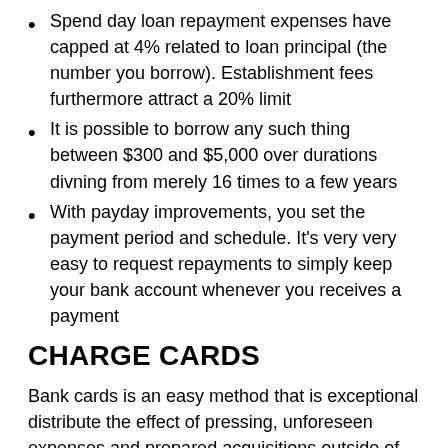Spend day loan repayment expenses have capped at 4% related to loan principal (the number you borrow). Establishment fees furthermore attract a 20% limit
It is possible to borrow any such thing between $300 and $5,000 over durations divning from merely 16 times to a few years
With payday improvements, you set the payment period and schedule. It's very very easy to request repayments to simply keep your bank account whenever you receives a payment
CHARGE CARDS
Bank cards is an easy method that is exceptional distribute the effect of pressing, unforeseen expenses and prepared acquisitions outside of one's pay cycle exactly like payday loan. However, whenever adopting